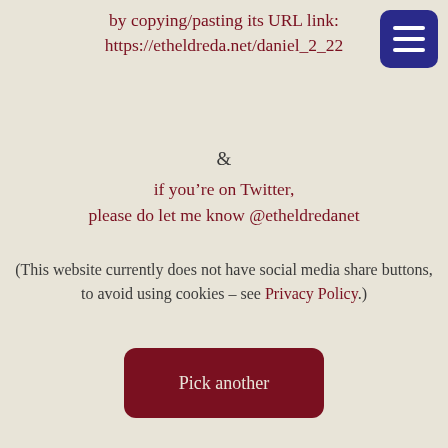by copying/pasting its URL link:
https://etheldreda.net/daniel_2_22
[Figure (other): Navigation menu button (hamburger icon) with three white horizontal lines on a dark blue rounded rectangle background]
&
if you're on Twitter,
please do let me know @etheldredanet
(This website currently does not have social media share buttons, to avoid using cookies – see Privacy Policy.)
Pick another